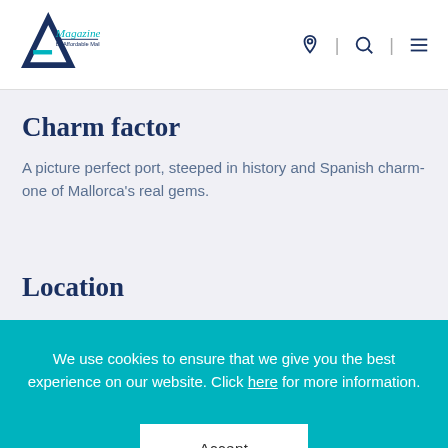A Magazine by Affordable Mallorca
Charm factor
A picture perfect port, steeped in history and Spanish charm- one of Mallorca's real gems.
Location
We use cookies to ensure that we give you the best experience on our website. Click here for more information.